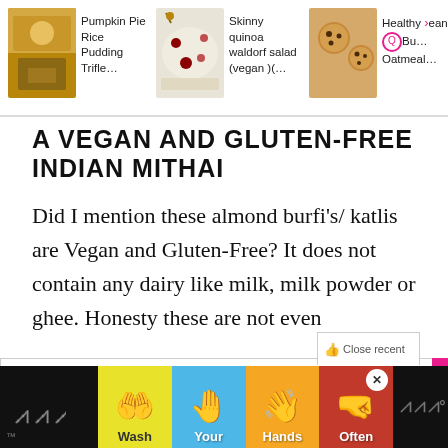[Figure (screenshot): Navigation header with three food recipe thumbnails: Pumpkin Pie Rice Pudding Trifle, Skinny quinoa waldorf salad (vegan)(, and Healthy ...ean...Bu... Oatmeal...]
A VEGAN AND GLUTEN-FREE INDIAN MITHAI
Did I mention these almond burfi's/ katlis are Vegan and Gluten-Free? It does not contain any dairy like milk, milk powder or ghee. Honesty these are not even
Privacy & Cookies: This site uses cookies. By continuing to use this website, you agree to their use. To find out more, including how to control cookies, see here: Cookie Policy
[Figure (infographic): Wash Your Hands Often public health advertisement banner with colorful hand-washing emoji icons]